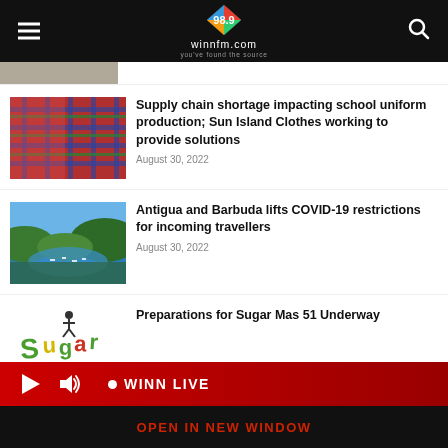winnfm.com — 98.9
[Figure (photo): Partial top article thumbnail (cut off at top)]
[Figure (photo): Colorful plaid/tartan fabric bolts stacked together]
Supply chain shortage impacting school uniform production; Sun Island Clothes working to provide solutions
August 30, 2022
[Figure (photo): Aerial view of a tropical bay with green hills and boats on the water]
Antigua and Barbuda lifts COVID-19 restrictions for incoming travellers
August 30, 2022
[Figure (logo): Sugar Mas 51 colorful carnival logo]
Preparations for Sugar Mas 51 Underway
WINN LIVE — OPEN IN NEW WINDOW